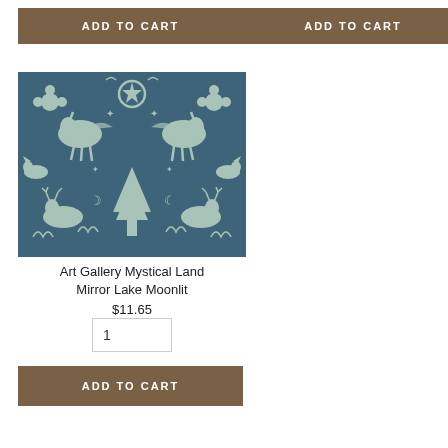ADD TO CART (top left button)
ADD TO CART (top right button)
[Figure (illustration): Art Gallery Mystical Land Mirror Lake Moonlit fabric — blue background with light teal silhouettes of unicorns, deer, trees, foxes, moons, stars, and floral motifs arranged in a symmetrical folk-art pattern.]
Art Gallery Mystical Land Mirror Lake Moonlit
$11.65
1 (quantity input)
ADD TO CART (bottom button)